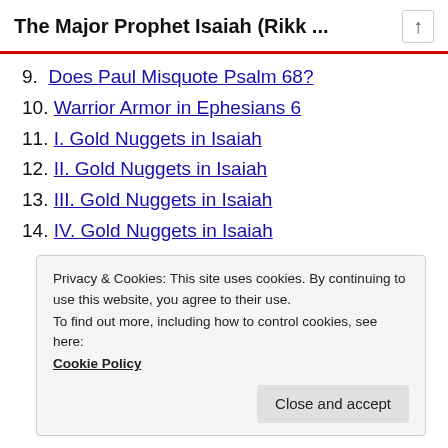The Major Prophet Isaiah (Rikk ...
9. Does Paul Misquote Psalm 68?
10. Warrior Armor in Ephesians 6
11. I. Gold Nuggets in Isaiah
12. II. Gold Nuggets in Isaiah
13. III. Gold Nuggets in Isaiah
14. IV. Gold Nuggets in Isaiah
Privacy & Cookies: This site uses cookies. By continuing to use this website, you agree to their use.
To find out more, including how to control cookies, see here:
Cookie Policy
Close and accept